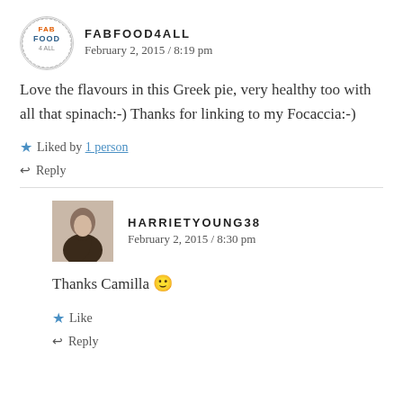FABFOOD4ALL — February 2, 2015 / 8:19 pm
Love the flavours in this Greek pie, very healthy too with all that spinach:-) Thanks for linking to my Focaccia:-)
★ Liked by 1 person
↩ Reply
HARRIETYOUNG38 — February 2, 2015 / 8:30 pm
Thanks Camilla 🙂
★ Like
↩ Reply